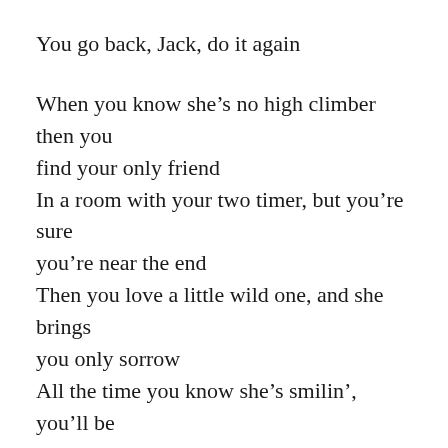You go back, Jack, do it again
When you know she’s no high climber then you find your only friend
In a room with your two timer, but you’re sure you’re near the end
Then you love a little wild one, and she brings you only sorrow
All the time you know she’s smilin’, you’ll be on your knees tomorrow
You go back, Jack, do it again, wheels turinin’ ‘round and ‘round
You go back, Jack, do it again
Now you swear and kick and beg us that you’re